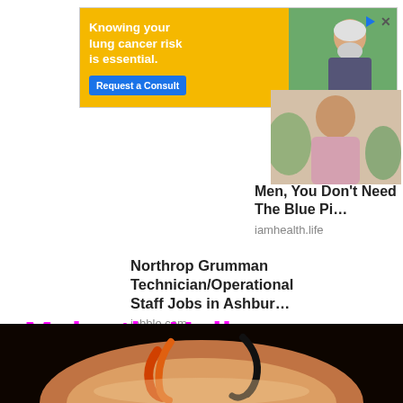[Figure (screenshot): Yellow advertisement banner for INOVA: 'Knowing your lung cancer risk is essential.' with a blue 'Request a Consult' button and a photo of a man on the right, INOVA logo.]
[Figure (photo): Partial image of a person visible in top-right sidebar area.]
Men, You Don't Need The Blue Pi…
iamhealth.life
Northrop Grumman Technician/Operational Staff Jobs in Ashbur…
jobble.com
Majestic Halloween Designs
[Figure (photo): Close-up photo of a Halloween tattoo design on skin, showing orange and black curved/hook shapes against a dark background.]